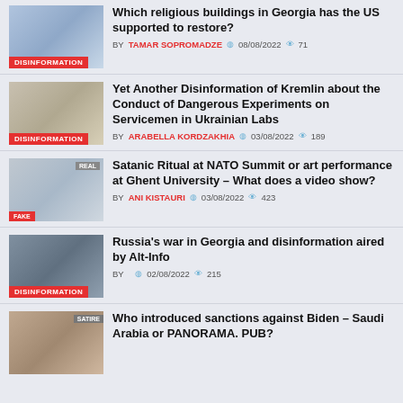Which religious buildings in Georgia has the US supported to restore? BY TAMAR SOPROMADZE 08/08/2022 71
Yet Another Disinformation of Kremlin about the Conduct of Dangerous Experiments on Servicemen in Ukrainian Labs BY ARABELLA KORDZAKHIA 03/08/2022 189
Satanic Ritual at NATO Summit or art performance at Ghent University – What does a video show? BY ANI KISTAURI 03/08/2022 423
Russia's war in Georgia and disinformation aired by Alt-Info BY 02/08/2022 215
Who introduced sanctions against Biden – Saudi Arabia or PANORAMA. PUB?